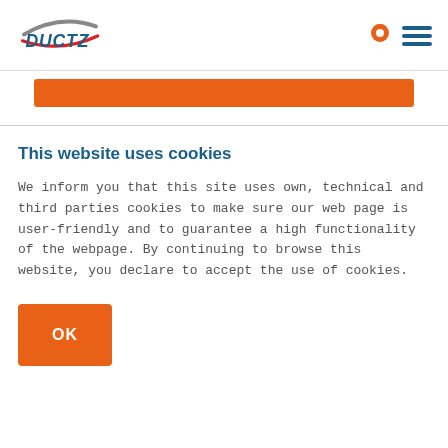[Figure (logo): DUCTZ logo with gray arc and red swoosh, company name in blue bold text]
[Figure (other): Orange navigation bar below header]
This website uses cookies
We inform you that this site uses own, technical and third parties cookies to make sure our web page is user-friendly and to guarantee a high functionality of the webpage. By continuing to browse this website, you declare to accept the use of cookies.
[Figure (other): Orange OK button]